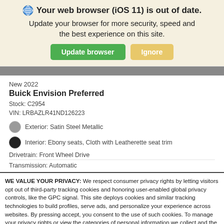Your web browser (iOS 11) is out of date. Update your browser for more security, speed and the best experience on this site.
Update browser | Ignore
[Figure (photo): Gray horizontal bar representing a car image header]
New 2022
Buick Envision Preferred
Stock: C2954
VIN: LRBAZLR41ND126223
Exterior: Satin Steel Metallic
Interior: Ebony seats, Cloth with Leatherette seat trim
Drivetrain: Front Wheel Drive
Transmission: Automatic
WE VALUE YOUR PRIVACY: We respect consumer privacy rights by letting visitors opt out of third-party tracking cookies and honoring user-enabled global privacy controls, like the GPC signal. This site deploys cookies and similar tracking technologies to build profiles, serve ads, and personalize your experience across websites. By pressing accept, you consent to the use of such cookies. To manage your privacy rights or view the categories of personal information we collect and the purposes for which the information is used, click here.
Language: English ∨ Powered by ComplyAuto
Accept and Continue → | Privacy Policy | ×